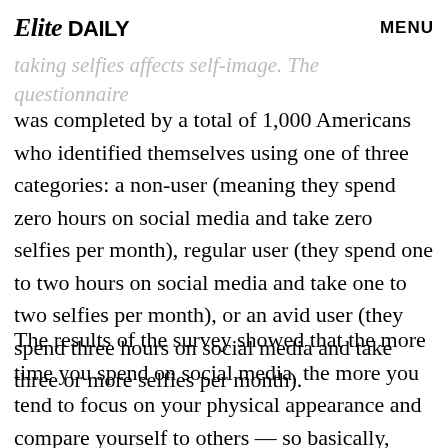Elite Daily  MENU
their self-image, and more specifically, how taking selfies affects self-image. The questionnaire was completed by a total of 1,000 Americans who identified themselves using one of three categories: a non-user (meaning they spend zero hours on social media and take zero selfies per month), regular user (they spend one to two hours on social media and take one to two selfies per month), or an avid user (they spend three hours on social media and take three or more selfies per month).
The results of the survey showed that the more time you spend on social media, the more you tend to focus on your physical appearance and compare yourself to others — so basically, nothing you haven't heard before. But stick around, because what's really